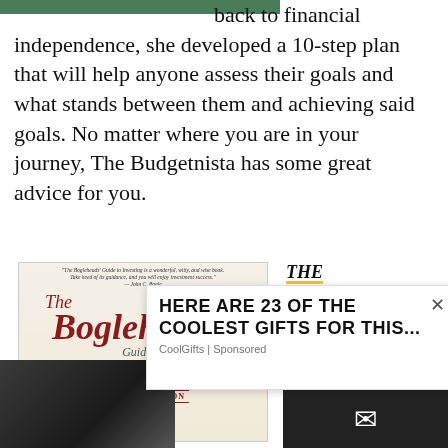[Figure (photo): Partial top image strip, green/dark background]
back to financial independence, she developed a 10-step plan that will help anyone assess their goals and what stands between them and achieving said goals. No matter where you are in your journey, The Budgetnista has some great advice for you.
[Figure (photo): Book cover: The Bogleheads' Guide to Investing, Second Edition]
THE BOGLEHEADS' GUIDE TO INVESTING BY MEL LINDAUER, TAYLOR LARIMORE, ET AL.
John C. Bogle (1929 –
[Figure (photo): Advertisement overlay: HERE ARE 23 OF THE COOLEST GIFTS FOR THIS... CoolGifts | Sponsored]
[Figure (photo): Bottom left: hand/finger photo, dark background]
[Figure (photo): Bottom right: dark strip with email envelope icon]